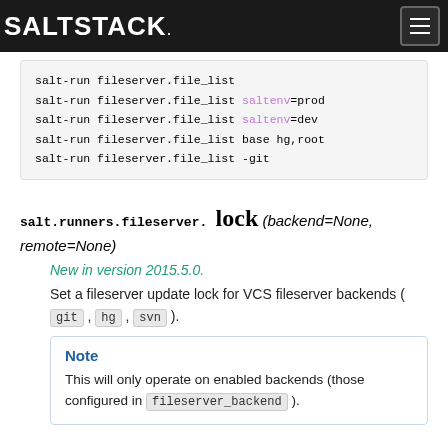SALTSTACK
salt-run fileserver.file_list
salt-run fileserver.file_list saltenv=prod
salt-run fileserver.file_list saltenv=dev
salt-run fileserver.file_list base hg,root
salt-run fileserver.file_list -git
salt.runners.fileserver. lock (backend=None, remote=None)
New in version 2015.5.0.
Set a fileserver update lock for VCS fileserver backends ( git , hg , svn ).
Note
This will only operate on enabled backends (those configured in fileserver_backend ).